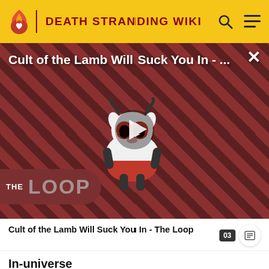DEATH STRANDING WIKI
[Figure (screenshot): Video thumbnail for 'Cult of the Lamb Will Suck You In - The Loop' showing a cartoon lamb character with red eyes in front of a red and black diagonal stripe background, with a play button overlay and 'THE LOOP' text badge at the bottom left.]
Cult of the Lamb Will Suck You In - The Loop  03…
In-universe
Målingen and Lockne are the names of two impact craters in Sweden, thought to have formed…